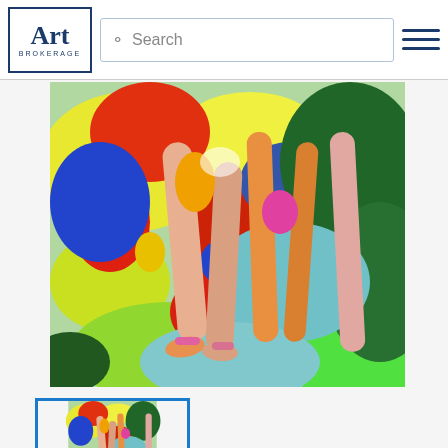Art Brokerage — Search
[Figure (illustration): Colorful pop-art style painting showing dancers' legs in vibrant reds, yellows, greens, blues and pinks against an energetic abstract background]
[Figure (thumbnail): Small thumbnail of the same colorful pop-art painting, highlighted with blue border]